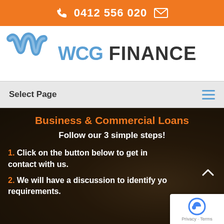0412 556 020
[Figure (logo): WCG Finance logo with blue ribbon icon and text 'WCG FINANCE']
Select Page
Business & Commercial Loans
Follow our 3 simple steps!
1. Click on the button below to get in contact with us.
2. We will have a discussion to identify your requirements.